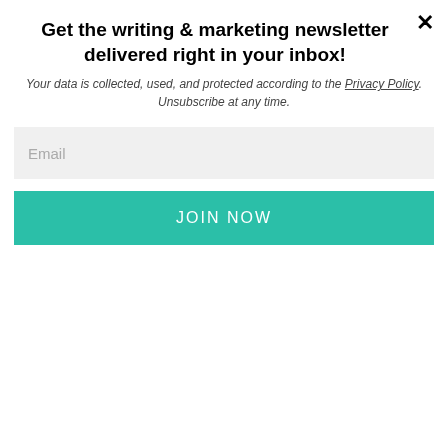Get the writing & marketing newsletter delivered right in your inbox!
Your data is collected, used, and protected according to the Privacy Policy. Unsubscribe at any time.
Email
JOIN NOW
Published April 9, 2016 | Last Updated May 21, 2020
By Nicole Bianchi — 37 Comments
[Figure (photo): Portrait painting of Benjamin Franklin, an older man with white hair and glasses, wearing a blue coat, appearing to be reading or writing, with a red chair visible in the background.]